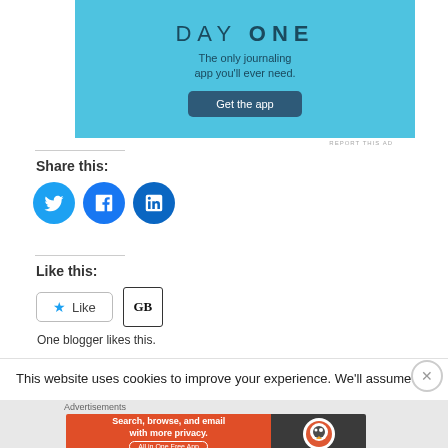[Figure (screenshot): DAY ONE app advertisement banner - blue background with text 'The only journaling app you'll ever need.' and 'Get the app' button]
REPORT THIS AD
Share this:
[Figure (infographic): Three social media share icons: Twitter (blue circle with bird), Facebook (blue circle with f), LinkedIn (blue circle with in)]
Like this:
[Figure (screenshot): Like button and GB blogger avatar showing one blogger likes this]
One blogger likes this.
This website uses cookies to improve your experience. We'll assume
Advertisements
[Figure (screenshot): DuckDuckGo advertisement: 'Search, browse, and email with more privacy. All in One Free App' with DuckDuckGo logo on dark background]